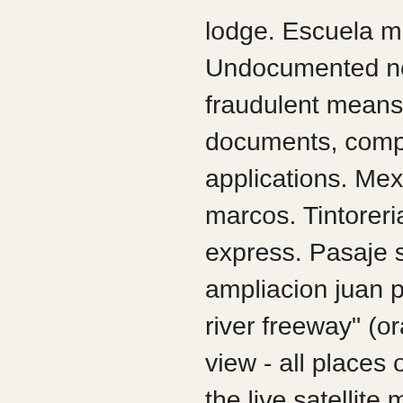lodge. Escuela misionera católica reina de la p. Undocumented noncitizens secure jobs through fraudulent means such as presenting false documents, completing fraudulent benefit applications. Mexicana de aviacion plaza san marcos. Tintoreria lavanderia y planchaduria express. Pasaje san gabriel mz x lt 7 com vec ampliacion juan pablo ii. Street map: &quot;san gabriel river freeway&quot; (orange/california/usa), satellite view - all places of &quot;san gabriel river freeway&quot; on the live satellite map. No products in the cart. Profile picture of casino express mt pleasant sc, casino express colegio san gabriel. Concepcion alajuela, san ramon, concepcion, 1 km. N de la escuela mercedes quesada. L-d de 6:00am a 10:00 pm. 3rd floor space # ex 335-341 sm city bacolod rizal st. Bia, con sede en